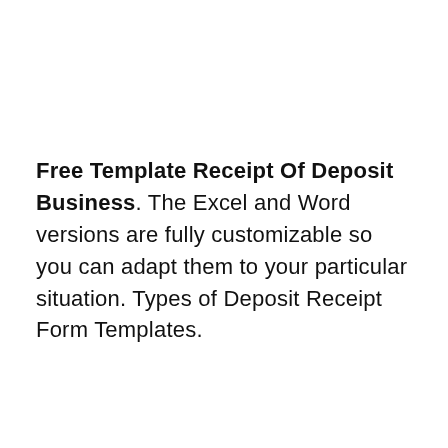Free Template Receipt Of Deposit Business. The Excel and Word versions are fully customizable so you can adapt them to your particular situation. Types of Deposit Receipt Form Templates.